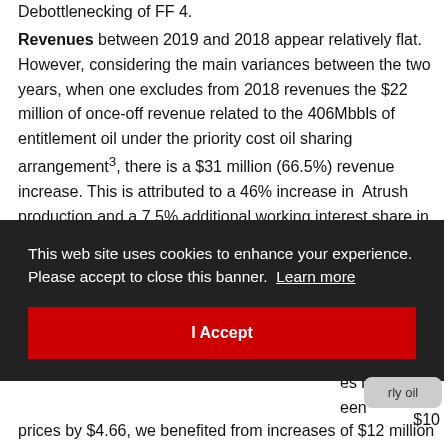Debottlenecking of FF 4.
Revenues between 2019 and 2018 appear relatively flat. However, considering the main variances between the two years, when one excludes from 2018 revenues the $22 million of once-off revenue related to the 406Mbbls of entitlement oil under the priority cost oil sharing arrangement³, there is a $31 million (66.5%) revenue increase. This is attributed to a 46% increase in Atrush production and a 7.5% additional working interest share in [partially obscured text] ...nance ...es by ...een ...$10 ...rly oil prices by $4.66, we benefited from increases of $12 million